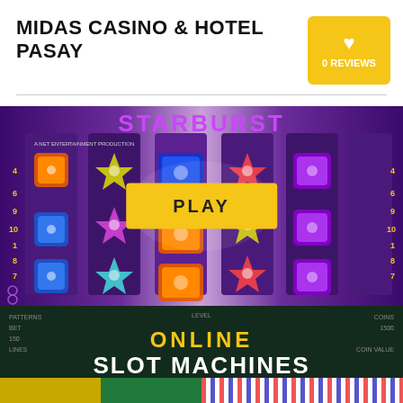MIDAS CASINO & HOTEL PASAY
0 REVIEWS
[Figure (screenshot): Starburst slot machine game screenshot with colorful gem symbols and a yellow PLAY button overlay]
ONLINE SLOT MACHINES